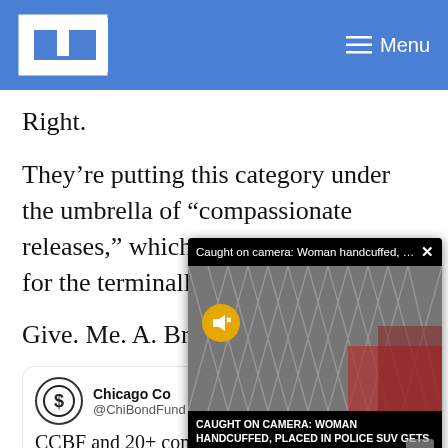LT  Menu
Right.
They’re putting this category under the umbrella of “compassionate releases,” which is generally reserved for the terminally ill.
Give. Me. A. Break.
[Figure (screenshot): Video popup overlay: 'Caught on camera: Woman handcuffed, ...' with an X close button, video thumbnail showing a lattice/grid fence with red elements, a yellow mute button, and caption text: 'CAUGHT ON CAMERA: WOMAN HANDCUFFED, PLACED IN POLICE SUV GETS OFFICER’S RIFLE, OPENS FIRE']
Chicago Community Bond Fund @ChiBondFund · Follow
CCBF and 20+ community and